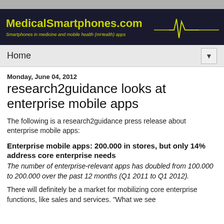MedicalSmartphones.com — Smartphones in medicine and mobile health (mHealth) apps
Home
Monday, June 04, 2012
research2guidance looks at enterprise mobile apps
The following is a research2guidance press release about enterprise mobile apps:
Enterprise mobile apps: 200.000 in stores, but only 14% address core enterprise needs
The number of enterprise-relevant apps has doubled from 100.000 to 200.000 over the past 12 months (Q1 2011 to Q1 2012).
There will definitely be a market for mobilizing core enterprise functions, like sales and services. "What we see